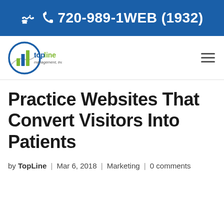720-989-1WEB (1932)
[Figure (logo): TopLine Management, Inc. logo with circular bar chart icon in blue and green, company name in blue and green text]
Practice Websites That Convert Visitors Into Patients
by TopLine | Mar 6, 2018 | Marketing | 0 comments